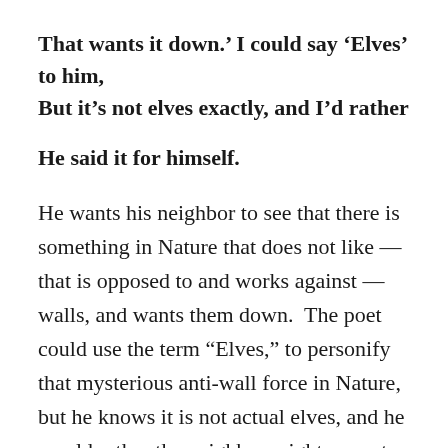That wants it down.’ I could say ‘Elves’ to him, But it’s not elves exactly, and I’d rather
He said it for himself.
He wants his neighbor to see that there is something in Nature that does not like — that is opposed to and works against — walls, and wants them down.  The poet could use the term “Elves,” to personify that mysterious anti-wall force in Nature, but he knows it is not actual elves, and he would rather the neighbor might come to  the realization of that anti-wall force for himself.
Now the poet ponders his tradition-bound neighbor as